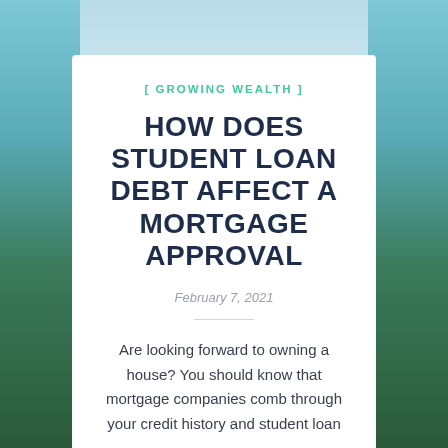[ GROWING WEALTH ]
HOW DOES STUDENT LOAN DEBT AFFECT A MORTGAGE APPROVAL
February 7, 2021
Are looking forward to owning a house? You should know that mortgage companies comb through your credit history and student loan...